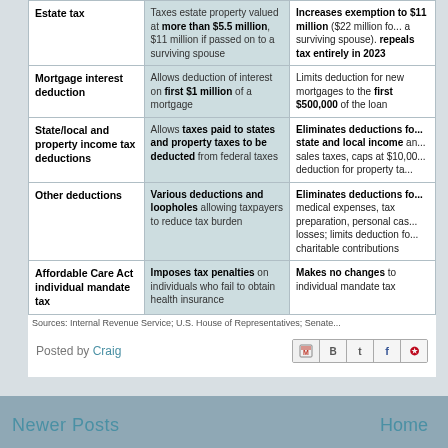| Topic | Current Law | Proposed Change |
| --- | --- | --- |
| Estate tax | Taxes estate property valued at more than $5.5 million, $11 million if passed on to a surviving spouse | Increases exemption to $11 million ($22 million for a surviving spouse). repeals tax entirely in 2023 |
| Mortgage interest deduction | Allows deduction of interest on first $1 million of a mortgage | Limits deduction for new mortgages to the first $500,000 of the loan |
| State/local and property income tax deductions | Allows taxes paid to states and property taxes to be deducted from federal taxes | Eliminates deductions for state and local income and sales taxes, caps at $10,000 deduction for property taxes |
| Other deductions | Various deductions and loopholes allowing taxpayers to reduce tax burden | Eliminates deductions for medical expenses, tax preparation, personal casualty losses; limits deduction for charitable contributions |
| Affordable Care Act individual mandate tax | Imposes tax penalties on individuals who fail to obtain health insurance | Makes no changes to individual mandate tax |
Sources: Internal Revenue Service; U.S. House of Representatives; Senate...
Posted by Craig
Newer Posts    Home